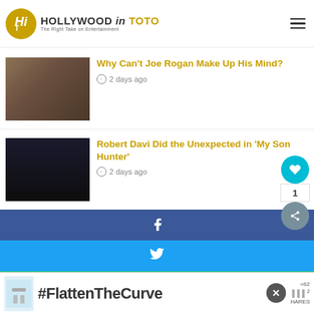Hollywood in Toto – The Right Take on Entertainment
Why Can't Joe Rogan Make Up His Mind?
2 days ago
Robert Davi Did the Unexpected in 'My Son Hunter'
2 days ago
[Figure (screenshot): Social share buttons: Facebook (blue), Twitter (light blue), WhatsApp (green), Telegram (blue). Floating like heart button (teal) with count 1 and share icon.]
[Figure (infographic): Ad banner at bottom: #FlattenTheCurve with handwashing image, close button, and share count showing 62 shares]